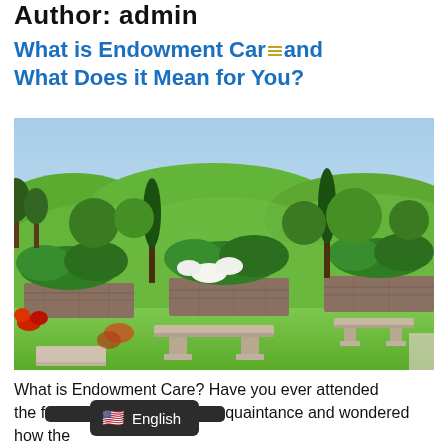Author: admin
What is Endowment Care and What Does it Mean for You?
[Figure (photo): Outdoor cemetery grounds with stone benches, stone retaining walls covered with green hedges, colorful flowers, manicured green lawn, and rolling hills with trees under a clear blue sky.]
What is Endowment Care? Have you ever attended the funeral of an acquaintance and wondered how the cemetery has been maintained for generations to